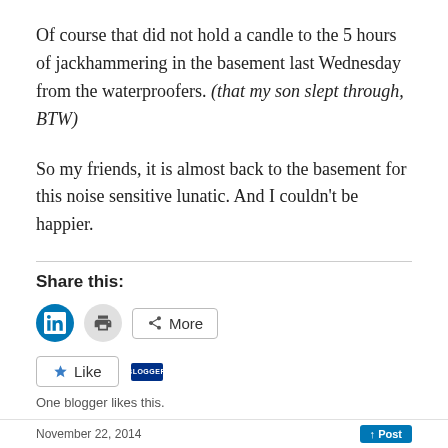Of course that did not hold a candle to the 5 hours of jackhammering in the basement last Wednesday from the waterproofers. (that my son slept through, BTW)
So my friends, it is almost back to the basement for this noise sensitive lunatic. And I couldn't be happier.
Share this:
[Figure (other): Social sharing buttons: LinkedIn (blue circle), Print (grey circle), and More (outlined button with share icon)]
[Figure (other): Like button (star icon) and a blogger avatar badge indicating one blogger likes this]
One blogger likes this.